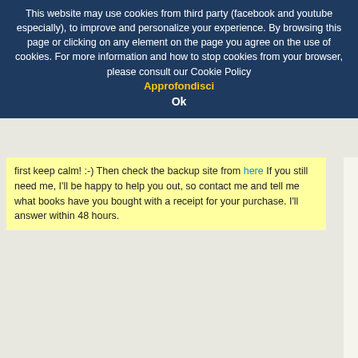This website may use cookies from third party (facebook and youtube especially), to improve and personalize your experience. By browsing this page or clicking on any element on the page you agree on the use of cookies. For more information and how to stop cookies from your browser, please consult our Cookie Policy Approfondisci Ok
first keep calm! :-) Then check the backup site from here If you still need me, I'll be happy to help you out, so contact me and tell me what books have you bought with a receipt for your purchase. I'll answer within 48 hours.
Contact me!
Click here to send me a message!
Tag
alpha learning awaken your Italian beliefs bilingual ebook brain gym brainwaves Daniel Tammet ebook identity change integrazione
It's been a while since I wrote my last article, I have a time that I devote to other activities (unfortunately not to holidays). During the month of August I am breakfast and making people feel at home (even at my home;-): all people who decide to come and spend their sea and swimming holidays between Capo Vaticano. That's why the time that I have little, but there's a moment, the moment that I call "my moment", when I have the chance to read or listen like. And do you know what this moment is? When preparing breakfast (imagine the smell of just b wait for people to come and eat and chat with t important for me to precise it: when my guests am really happy to give them my full attention. for the first time in a bar in Morano Calabro:
[Figure (photo): A gray image placeholder at the bottom of the right column]